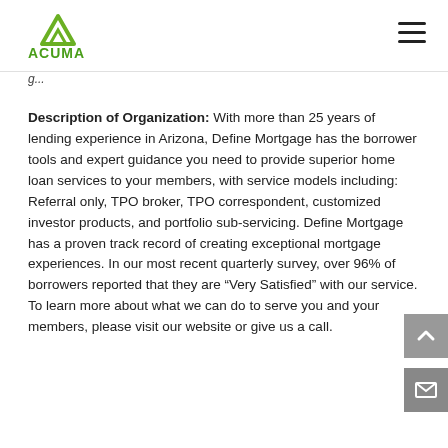[Figure (logo): ACUMA logo with green triangle/mountain icon above the text ACUMA in green]
g...
Description of Organization: With more than 25 years of lending experience in Arizona, Define Mortgage has the borrower tools and expert guidance you need to provide superior home loan services to your members, with service models including: Referral only, TPO broker, TPO correspondent, customized investor products, and portfolio sub-servicing. Define Mortgage has a proven track record of creating exceptional mortgage experiences. In our most recent quarterly survey, over 96% of borrowers reported that they are “Very Satisfied” with our service. To learn more about what we can do to serve you and your members, please visit our website or give us a call.